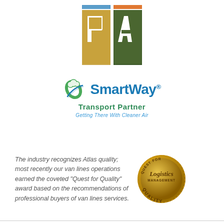[Figure (logo): PA logo — two colored squares forming letters P and A with colored top bars (blue and orange), P on gold/yellow background, A on dark green background]
[Figure (logo): SmartWay Transport Partner logo — leaf/road graphic in green and blue beside 'SmartWay' text in blue, 'Transport Partner' in green, 'Getting There With Cleaner Air' tagline in blue italic]
The industry recognizes Atlas quality; most recently our van lines operations earned the coveted "Quest for Quality" award based on the recommendations of professional buyers of van lines services.
[Figure (illustration): Gold coin/medal with 'Quest for Quality' Logistics Management embossed text]